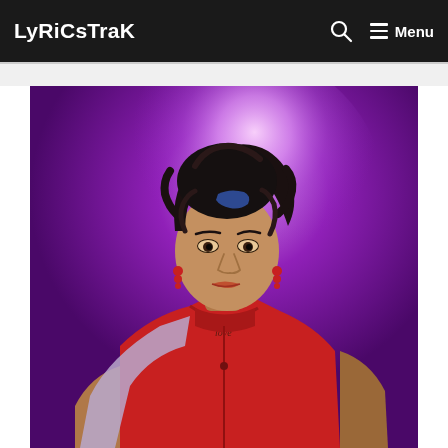LyRiCsTraK
[Figure (photo): Artist photo of a young woman with curly dark hair styled up, wearing a red turtleneck top and red earrings, against a purple spotlight background]